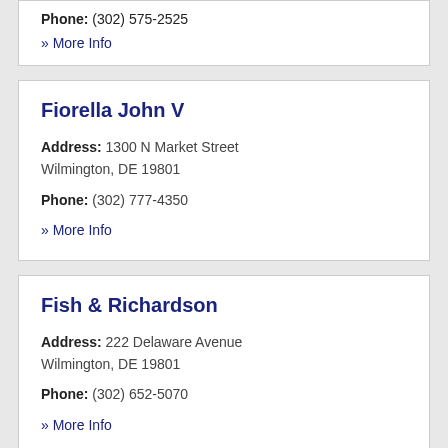Phone: (302) 575-2525
» More Info
Fiorella John V
Address: 1300 N Market Street Wilmington, DE 19801
Phone: (302) 777-4350
» More Info
Fish & Richardson
Address: 222 Delaware Avenue Wilmington, DE 19801
Phone: (302) 652-5070
» More Info